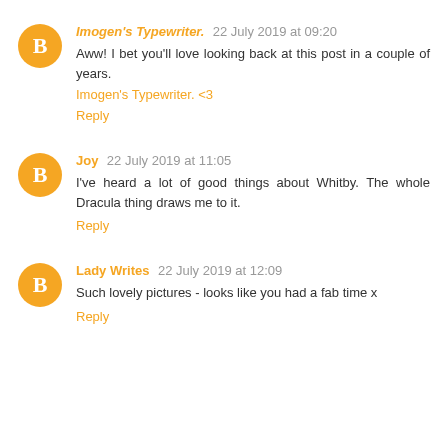Imogen's Typewriter. 22 July 2019 at 09:20
Aww! I bet you'll love looking back at this post in a couple of years.
Imogen's Typewriter. <3
Reply
Joy 22 July 2019 at 11:05
I've heard a lot of good things about Whitby. The whole Dracula thing draws me to it.
Reply
Lady Writes 22 July 2019 at 12:09
Such lovely pictures - looks like you had a fab time x
Reply